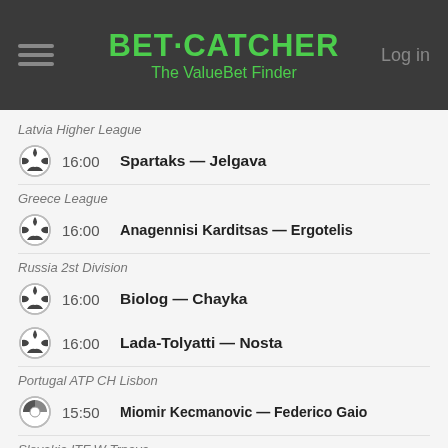BET·CATCHER The ValueBet Finder
Latvia Higher League
16:00 Spartaks — Jelgava
Greece League
16:00 Anagennisi Karditsas — Ergotelis
Russia 2st Division
16:00 Biolog — Chayka
16:00 Lada-Tolyatti — Nosta
Portugal ATP CH Lisbon
15:50 Miomir Kecmanovic — Federico Gaio
Slovakia ITF W Trnava
15:35 Vera Zvonareva — Anhelina Kalinina
Italy WTA Rome
15:30 Anastasija Sevastova — Aleksandra Krunic